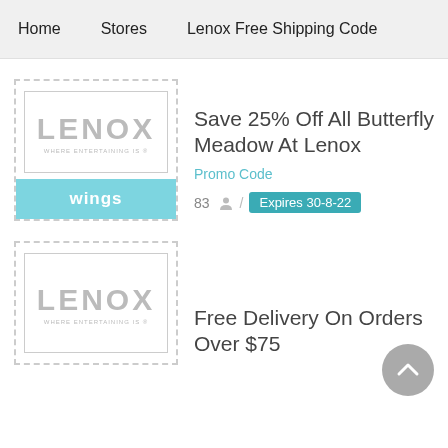Home   Stores   Lenox Free Shipping Code
[Figure (logo): Lenox logo with text 'LENOX WHERE ENTERTAINING IS @' in a bordered box with dashed outer border, and a teal 'wings' bar below]
Save 25% Off All Butterfly Meadow At Lenox
Promo Code
83  /  Expires 30-8-22
[Figure (logo): Lenox logo with text 'LENOX WHERE ENTERTAINING IS @' in a bordered box with dashed outer border]
Free Delivery On Orders Over $75